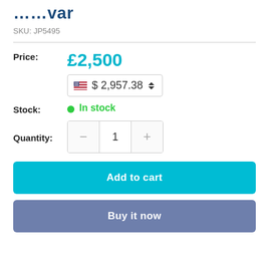……var
SKU: JP5495
Price: £2,500 / $2,957.38
Stock: In stock
Quantity: 1
Add to cart
Buy it now